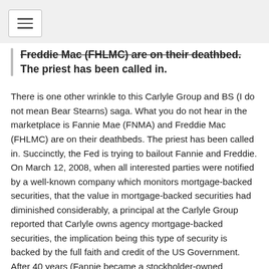[navigation/hamburger menu icon]
Freddie Mac (FHLMC) are on their deathbed. The priest has been called in.
There is one other wrinkle to this Carlyle Group and BS (I do not mean Bear Stearns) saga. What you do not hear in the marketplace is Fannie Mae (FNMA) and Freddie Mac (FHLMC) are on their deathbeds. The priest has been called in. Succinctly, the Fed is trying to bailout Fannie and Freddie. On March 12, 2008, when all interested parties were notified by a well-known company which monitors mortgage-backed securities, that the value in mortgage-backed securities had diminished considerably, a principal at the Carlyle Group reported that Carlyle owns agency mortgage-backed securities, the implication being this type of security is backed by the full faith and credit of the US Government. After 40 years (Fannie became a stockholder-owned company in 1968) of rebuttals by government officials and that FNMA is not backed by the federal government, now the Fed has to reverse itself and bailout Fannie and Freddie because their operations are completely intertwined in the massive derivative crisis, tainted and just as toxic as all the other worthless mortgage-